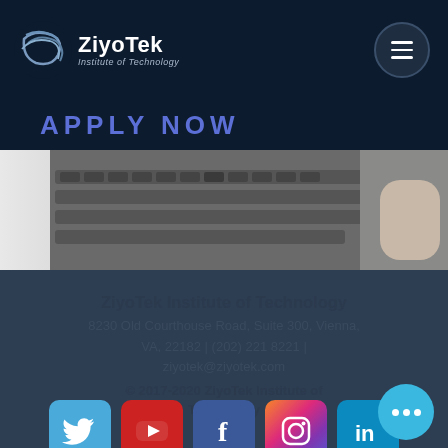[Figure (logo): ZiyoTek Institute of Technology logo with stylized globe/wave icon and text]
APPLY NOW
[Figure (photo): Laptop keyboard photo used as hero/banner image]
ZiyoTek Institute of Technology
8230 Old Courthouse Road, Suite 300, Vienna, VA, 22182 | (202) 221 8221 | ziyotek@ziyotek.com
© 2017-2020 ZiyoTek Institute of Technology
[Figure (other): Row of social media icons: Twitter, YouTube, Facebook, Instagram, LinkedIn]